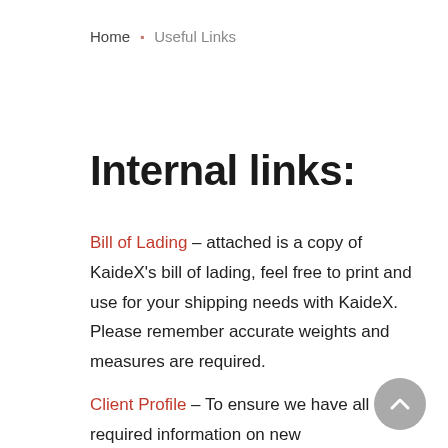Home ▪ Useful Links
Internal links:
Bill of Lading – attached is a copy of KaideX's bill of lading, feel free to print and use for your shipping needs with KaideX.  Please remember accurate weights and measures are required.
Client Profile – To ensure we have all required information on new